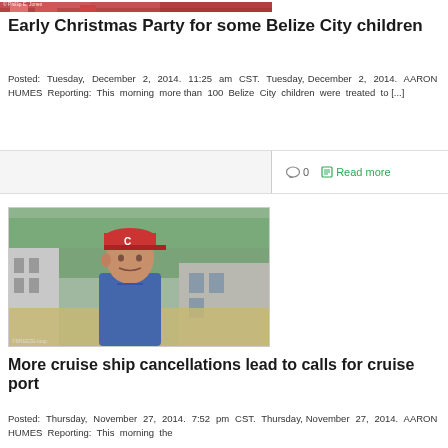[Figure (photo): Partial view of a Christmas party image with children, red color tones, with copyright watermark © Phillip E. Jones]
Early Christmas Party for some Belize City children
Posted: Tuesday, December 2, 2014. 11:25 am CST. Tuesday, December 2, 2014. AARON HUMES Reporting: This morning more than 100 Belize City children were treated to [...]
[Figure (photo): Man wearing a red cap with letter C and a blue jacket, standing outdoors near a building with trees in background. Watermark visible at bottom left.]
More cruise ship cancellations lead to calls for cruise port
Posted: Thursday, November 27, 2014. 7:52 pm CST. Thursday, November 27, 2014. AARON HUMES Reporting: This morning the